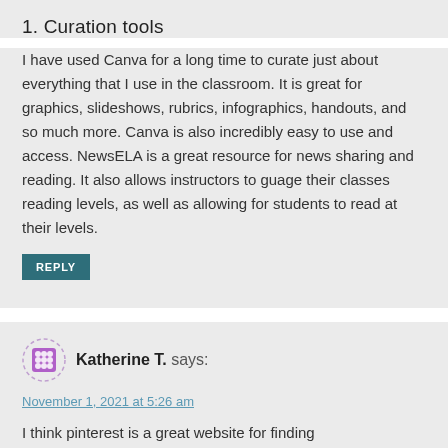1. Curation tools
I have used Canva for a long time to curate just about everything that I use in the classroom. It is great for graphics, slideshows, rubrics, infographics, handouts, and so much more. Canva is also incredibly easy to use and access. NewsELA is a great resource for news sharing and reading. It also allows instructors to guage their classes reading levels, as well as allowing for students to read at their levels.
REPLY
Katherine T. says:
November 1, 2021 at 5:26 am
I think pinterest is a great website for finding